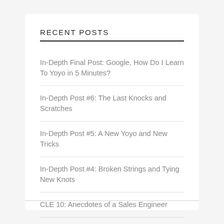RECENT POSTS
In-Depth Final Post: Google, How Do I Learn To Yoyo in 5 Minutes?
In-Depth Post #6: The Last Knocks and Scratches
In-Depth Post #5: A New Yoyo and New Tricks
In-Depth Post #4: Broken Strings and Tying New Knots
CLE 10: Anecdotes of a Sales Engineer